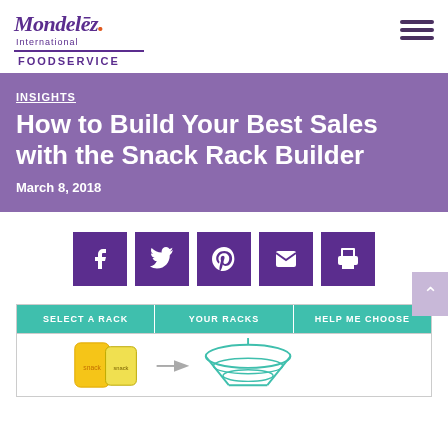Mondelez International FOODSERVICE
INSIGHTS
How to Build Your Best Sales with the Snack Rack Builder
March 8, 2018
[Figure (other): Social sharing buttons: Facebook, Twitter, Pinterest, Email, Print]
[Figure (screenshot): Snack Rack Builder tool interface with tabs: SELECT A RACK, YOUR RACKS, HELP ME CHOOSE, and product imagery showing snack bags and a rack illustration]